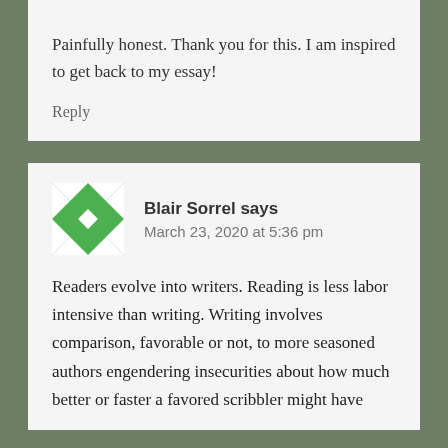Painfully honest. Thank you for this. I am inspired to get back to my essay!
Reply
Blair Sorrel says
March 23, 2020 at 5:36 pm
Readers evolve into writers. Reading is less labor intensive than writing. Writing involves comparison, favorable or not, to more seasoned authors engendering insecurities about how much better or faster a favored scribbler might have